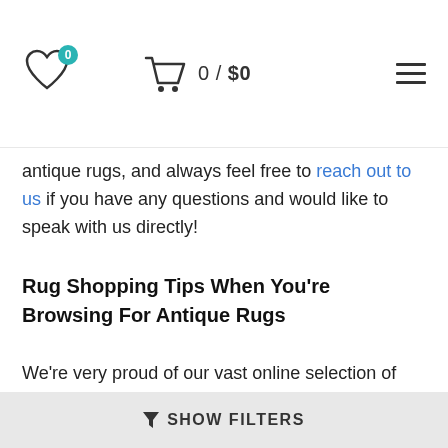0 / $0
antique rugs, and always feel free to reach out to us if you have any questions and would like to speak with us directly!
Rug Shopping Tips When You're Browsing For Antique Rugs
We're very proud of our vast online selection of antique rugs of all types, including high-quality rug types like oriental rugs Charlotte NC and Persian rugs Charlotte NC. We understand just how important it is for rug
SHOW FILTERS